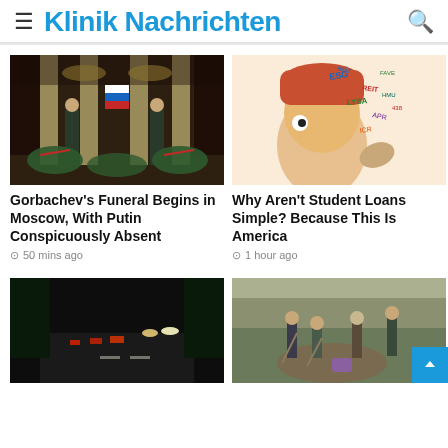Klinik Nachrichten
[Figure (photo): Funeral ceremony with honor guards and large floral wreaths at a grand hall with columns and chandeliers, Russian flag visible]
Gorbachev’s Funeral Begins in Moscow, With Putin Conspicuously Absent
50 mins ago
[Figure (illustration): Colorful illustration of a head with financial acronyms and terms flying out: LYSA, ESG, REIT, APR, ICR, HMU, 498, etc.]
Why Aren’t Student Loans Simple? Because This Is America
1 hour ago
[Figure (photo): Night scene with traffic on a dark road, red tail lights visible, trees on the sides]
[Figure (photo): People digging in dirt outdoors near a fence, carrying shovels and bags]